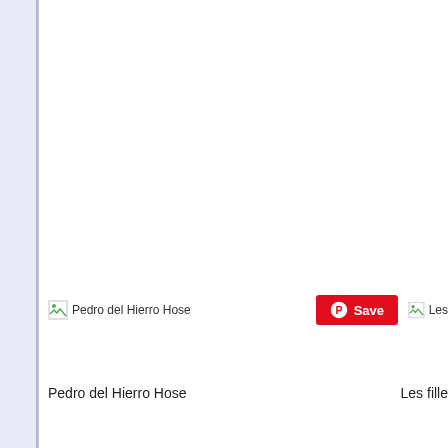[Figure (screenshot): Screenshot of a webpage showing image thumbnails with captions. Left panel is a light blue/lavender navigation sidebar. Two image items visible: 'Pedro del Hierro Hose' on the left with a broken image icon, and a partially visible 'Les fill...' item on the right. A red Pinterest 'Save' button is visible between them.]
Pedro del Hierro Hose
Les fille